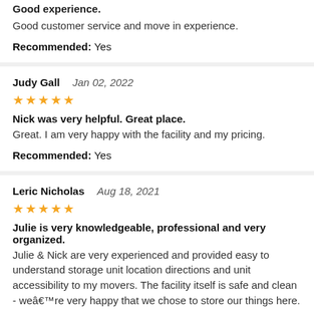Good experience.
Good customer service and move in experience.
Recommended: Yes
Judy Gall   Jan 02, 2022
★★★★★
Nick was very helpful. Great place.
Great. I am very happy with the facility and my pricing.
Recommended: Yes
Leric Nicholas   Aug 18, 2021
★★★★★
Julie is very knowledgeable, professional and very organized.
Julie & Nick are very experienced and provided easy to understand storage unit location directions and unit accessibility to my movers. The facility itself is safe and clean - we're very happy that we chose to store our things here.